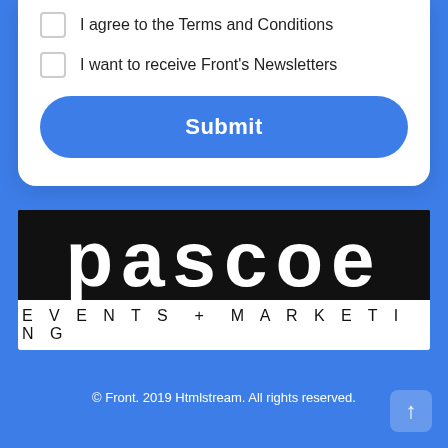I agree to the Terms and Conditions
I want to receive Front's Newsletters
Submit
[Figure (logo): Pascoe Events + Marketing logo. Black background with large white lowercase text 'pascoe', below a white bar with 'EVENTS + MARKETING' in spaced uppercase letters.]
© Front. 2019 Htmlstream. All rights reserved.